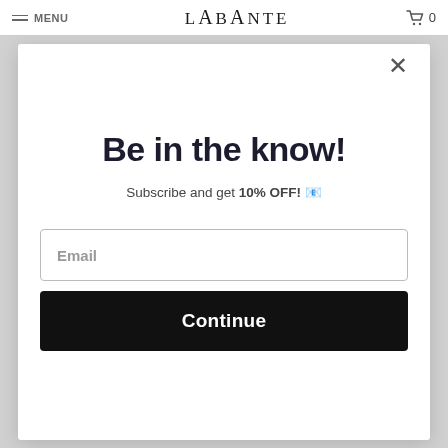MENU | LABANTE | 0
Be in the know!
Subscribe and get 10% OFF! 🎁
Email
Continue